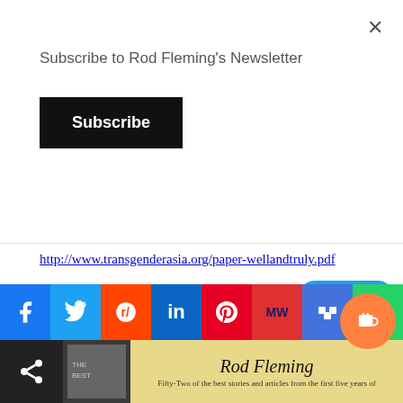Subscribe to Rod Fleming's Newsletter
Subscribe
http://www.transgenderasia.org/paper-wellandtruly.pdf
Winter, S. Transpeople (Khom Kham Phet) in Thailand. http://www.transgenderasia.org/paper-khonkhamphet.pdf
Zucker, K. et al. Physical attractiveness of boys with gender identity disorder http://link.springer.com/article/10.1007/BF01552910
[Figure (screenshot): Social media sharing buttons bar: Facebook, Twitter, Reddit, LinkedIn, Pinterest, MeWe, Mix, WhatsApp, and a Tweet badge overlay and a Buy Me a Coffee orange circular button]
[Figure (screenshot): Bottom strip with share icon, book cover thumbnail, Rod Fleming italic title text, and subtitle text: Fifty-Two of the best stories and articles from the first five years of]